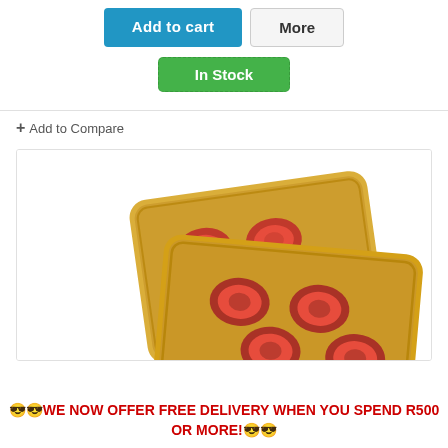[Figure (screenshot): E-commerce product page showing Add to cart (blue) and More (grey) buttons, an In Stock green badge, an Add to Compare link, a product photo of two gold blister packs with red tablets, and a promotional red text banner about free delivery.]
😎😎WE NOW OFFER FREE DELIVERY WHEN YOU SPEND R500 OR MORE!😎😎